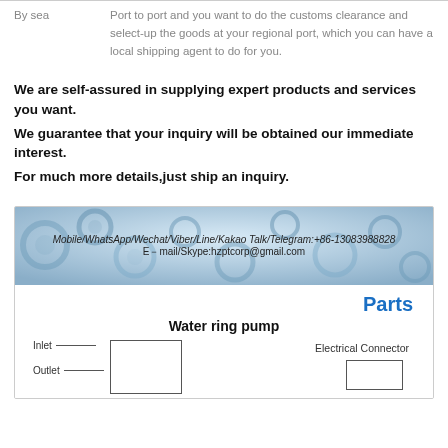|  |  |
| --- | --- |
| By sea | Port to port and you want to do the customs clearance and select-up the goods at your regional port, which you can have a local shipping agent to do for you. |
We are self-assured in supplying expert products and services you want.
We guarantee that your inquiry will be obtained our immediate interest.
For much more details,just ship an inquiry.
[Figure (infographic): Contact banner with gear background showing Mobile/WhatsApp/Wechat/Viber/Line/Kakao Talk/Telegram:+86-13083988828 and E-mail/Skype:hzptcorp@gmail.com, followed by Parts label and Water ring pump diagram with Inlet, Outlet labels on left and Electrical Connector label on right.]